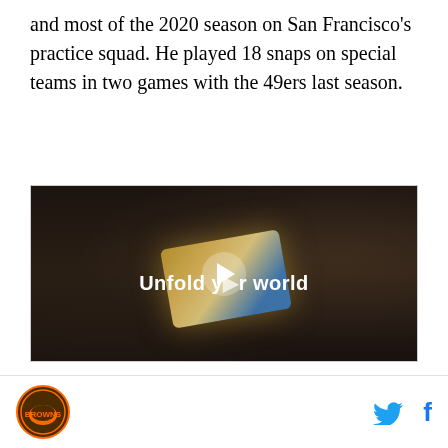and most of the 2020 season on San Francisco's practice squad. He played 18 snaps on special teams in two games with the 49ers last season.
[Figure (screenshot): Advertisement area with gray background labeled 'AD' in top right, containing a video player showing a dark car interior scene with a person holding a Samsung foldable phone. Text overlay reads 'Unfold your world' with a play button in the center.]
[Figure (logo): Cleveland Browns helmet logo in circular format, brown and orange colors]